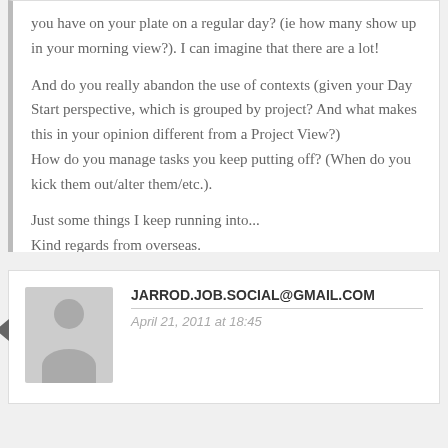you have on your plate on a regular day? (ie how many show up in your morning view?). I can imagine that there are a lot!

And do you really abandon the use of contexts (given your Day Start perspective, which is grouped by project? And what makes this in your opinion different from a Project View?)
How do you manage tasks you keep putting off? (When do you kick them out/alter them/etc.).

Just some things I keep running into...
Kind regards from overseas.
REPLY ↓
JARROD.JOB.SOCIAL@GMAIL.COM
April 21, 2011 at 18:45